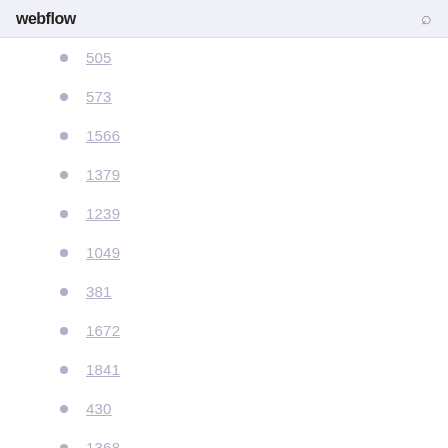webflow
505
573
1566
1379
1239
1049
381
1672
1841
430
1368
1352
427